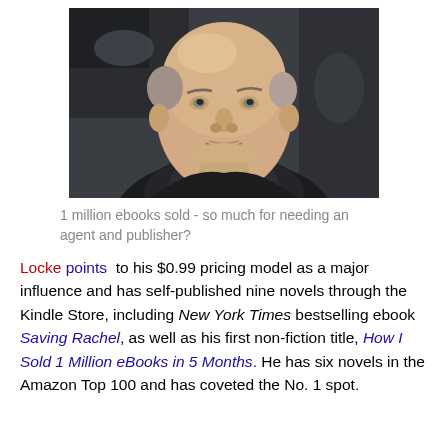[Figure (photo): Headshot of a middle-aged bald man in a dark jacket, looking at the camera with a neutral expression, outdoor background with blurred car.]
1 million ebooks sold - so much for needing an agent and publisher?
Locke points to his $0.99 pricing model as a major influence and has self-published nine novels through the Kindle Store, including New York Times bestselling ebook Saving Rachel, as well as his first non-fiction title, How I Sold 1 Million eBooks in 5 Months. He has six novels in the Amazon Top 100 and has coveted the No. 1 spot.